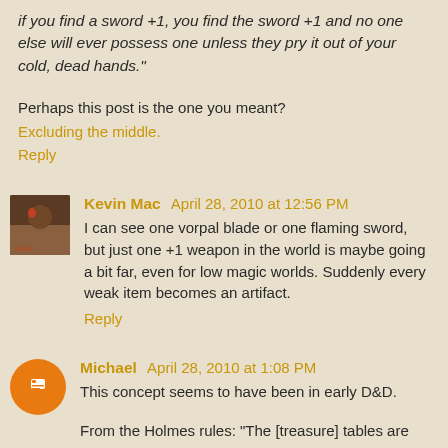if you find a sword +1, you find the sword +1 and no one else will ever possess one unless they pry it out of your cold, dead hands."
Perhaps this post is the one you meant?
Excluding the middle.
Reply
Kevin Mac April 28, 2010 at 12:56 PM
I can see one vorpal blade or one flaming sword, but just one +1 weapon in the world is maybe going a bit far, even for low magic worlds. Suddenly every weak item becomes an artifact.
Reply
Michael April 28, 2010 at 1:08 PM
This concept seems to have been in early D&D.
From the Holmes rules: "The [treasure] tables are